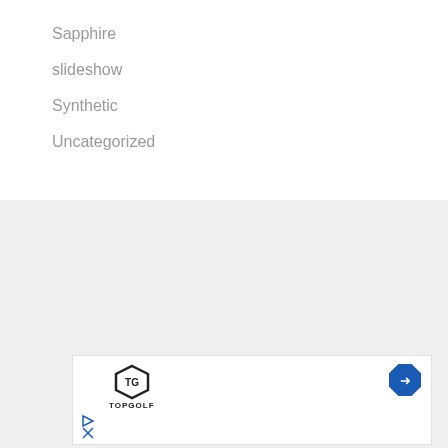Sapphire
slideshow
Synthetic
Uncategorized
[Figure (illustration): Social media icons: Facebook (blue circle), Twitter (light blue circle), Pinterest (red circle)]
[Figure (logo): TopGolf logo with shield icon and navigation arrow icon, small play button and close button icons below]